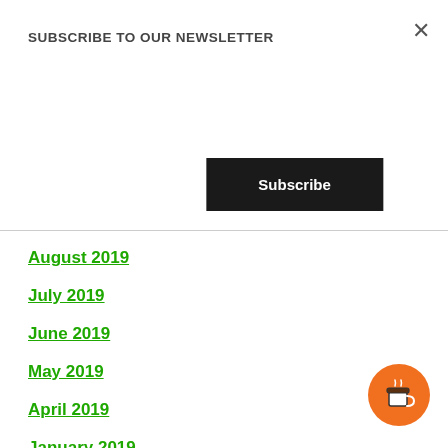SUBSCRIBE TO OUR NEWSLETTER
Subscribe
August 2019
July 2019
June 2019
May 2019
April 2019
January 2019
December 2018
November 2018
October 2018
September 2018